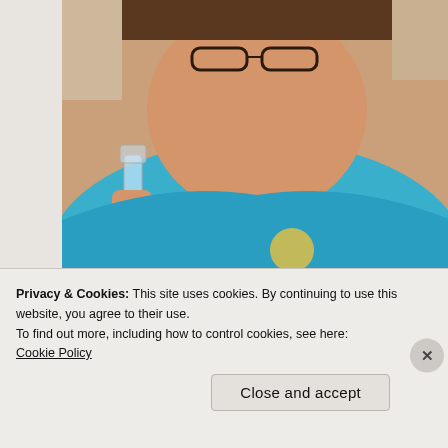[Figure (photo): A woman in a blue shirt holding up a glass, appearing to toast, taking a selfie. She wears glasses pushed up on her head and a necklace.]
Cheers. Who needs to brush your hair in a pandemic? I do still wear a bra, but it's a comfy one.
Advertisements
[Figure (screenshot): Green advertisement banner]
Privacy & Cookies: This site uses cookies. By continuing to use this website, you agree to their use.
To find out more, including how to control cookies, see here:
Cookie Policy
Close and accept